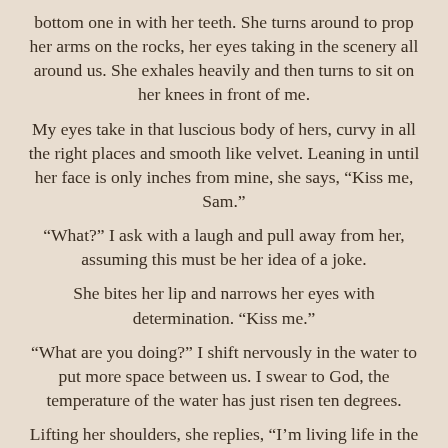bottom one in with her teeth. She turns around to prop her arms on the rocks, her eyes taking in the scenery all around us. She exhales heavily and then turns to sit on her knees in front of me.
My eyes take in that luscious body of hers, curvy in all the right places and smooth like velvet. Leaning in until her face is only inches from mine, she says, “Kiss me, Sam.”
“What?” I ask with a laugh and pull away from her, assuming this must be her idea of a joke.
She bites her lip and narrows her eyes with determination. “Kiss me.”
“What are you doing?” I shift nervously in the water to put more space between us. I swear to God, the temperature of the water has just risen ten degrees.
Lifting her shoulders, she replies, “I’m living life in the moment.”